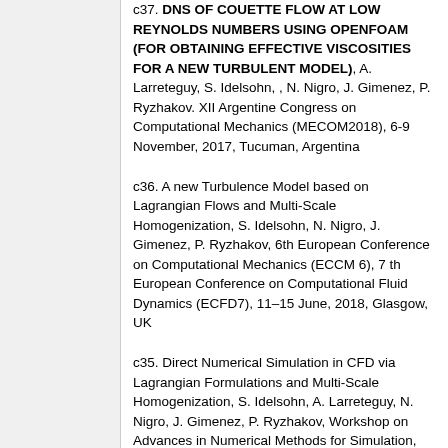c37. DNS OF COUETTE FLOW AT LOW REYNOLDS NUMBERS USING OPENFOAM (FOR OBTAINING EFFECTIVE VISCOSITIES FOR A NEW TURBULENT MODEL), A. Larreteguy, S. Idelsohn, , N. Nigro, J. Gimenez, P. Ryzhakov. XII Argentine Congress on Computational Mechanics (MECOM2018), 6-9 November, 2017, Tucuman, Argentina
c36. A new Turbulence Model based on Lagrangian Flows and Multi-Scale Homogenization, S. Idelsohn, N. Nigro, J. Gimenez, P. Ryzhakov, 6th European Conference on Computational Mechanics (ECCM 6), 7 th European Conference on Computational Fluid Dynamics (ECFD7), 11–15 June, 2018, Glasgow, UK
c35. Direct Numerical Simulation in CFD via Lagrangian Formulations and Multi-Scale Homogenization, S. Idelsohn, A. Larreteguy, N. Nigro, J. Gimenez, P. Ryzhakov, Workshop on Advances in Numerical Methods for Simulation, Optimization, and Uncertainty Quantification of Coupled Physics Problems, April 23-24, 2018 Boulder, USA